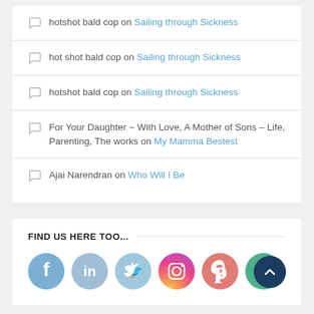hotshot bald cop on Sailing through Sickness
hot shot bald cop on Sailing through Sickness
hotshot bald cop on Sailing through Sickness
For Your Daughter ~ With Love, A Mother of Sons – Life, Parenting, The works on My Mamma Bestest
Ajai Narendran on Who Will I Be
FIND US HERE TOO...
[Figure (infographic): Row of six social media icon circles: Facebook (blue), LinkedIn (light blue), Twitter (light blue), Instagram (gradient pink/purple), Pinterest (salmon/pink), and a green forward/share icon]